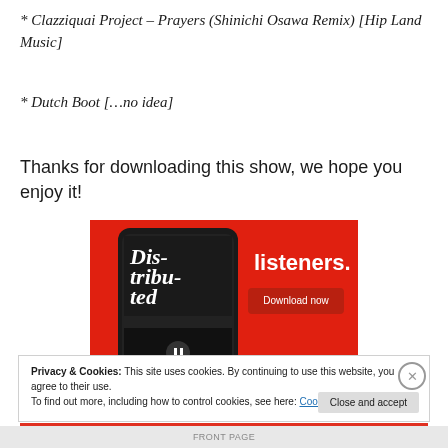* Clazziquai Project – Prayers (Shinichi Osawa Remix) [Hip Land Music]
* Dutch Boot […no idea]
Thanks for downloading this show, we hope you enjoy it!
[Figure (screenshot): Promotional banner for a podcast app showing a smartphone with 'Distributed' text on a red background, with 'listeners.' text and a 'Download now' button.]
Privacy & Cookies: This site uses cookies. By continuing to use this website, you agree to their use.
To find out more, including how to control cookies, see here: Cookie Policy
Close and accept